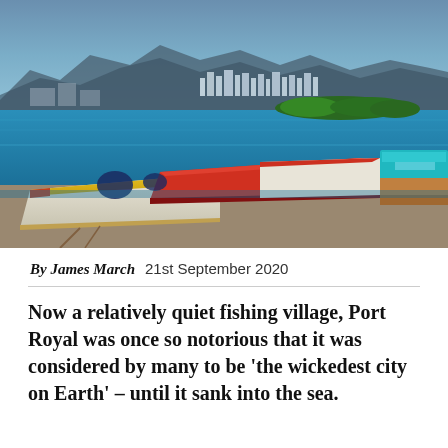[Figure (photo): Colorful fishing boats (yellow, white, red, blue) moored at the waterfront of Port Royal, Jamaica. Blue water in the background with green mangroves and a city skyline and mountains in the distance under a hazy blue sky.]
By James March   21st September 2020
Now a relatively quiet fishing village, Port Royal was once so notorious that it was considered by many to be 'the wickedest city on Earth' – until it sank into the sea.